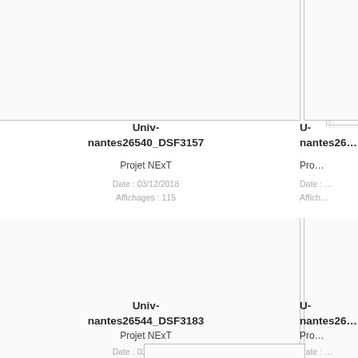[Figure (other): Document thumbnail card top-left, partially visible]
Univ-nantes26540_DSF3157
Projet NExT
Date : 03/12/2018
Affichages : 115
[Figure (other): Document thumbnail card top-right, partially visible]
Univ-nantes26...
Pro...
Date : ...
Affich...
[Figure (other): Document thumbnail card bottom-left]
Univ-nantes26544_DSF3183
Projet NExT
Date : 03/12/2018
Affichages : 100
[Figure (other): Document thumbnail card bottom-right, partially visible]
Univ-nantes26...
Pro...
Date : ...
Affich...
[Figure (other): Document thumbnail card bottom, partially visible]